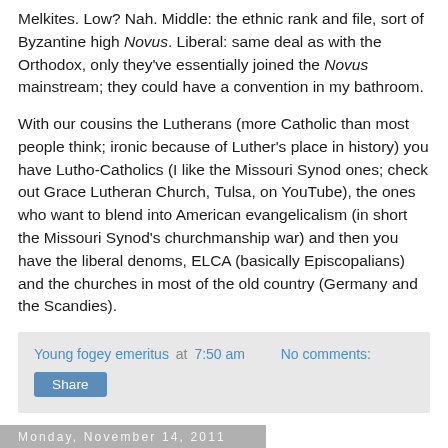Melkites. Low? Nah. Middle: the ethnic rank and file, sort of Byzantine high Novus. Liberal: same deal as with the Orthodox, only they've essentially joined the Novus mainstream; they could have a convention in my bathroom.
With our cousins the Lutherans (more Catholic than most people think; ironic because of Luther's place in history) you have Lutho-Catholics (I like the Missouri Synod ones; check out Grace Lutheran Church, Tulsa, on YouTube), the ones who want to blend into American evangelicalism (in short the Missouri Synod's churchmanship war) and then you have the liberal denoms, ELCA (basically Episcopalians) and the churches in most of the old country (Germany and the Scandies).
Young fogey emeritus at 7:50 am   No comments:
Share
Monday, November 14, 2011